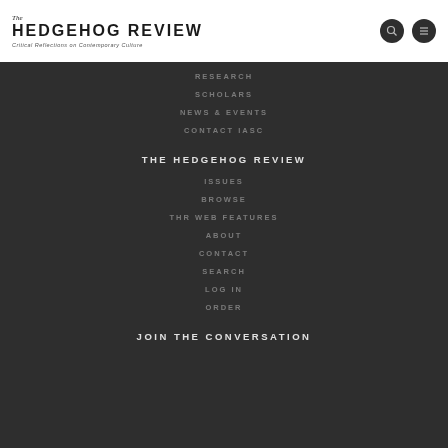The HEDGEHOG REVIEW — Critical Reflections on Contemporary Culture
RESEARCH
SCHOLARS
NEWS & EVENTS
CONTACT IASC
THE HEDGEHOG REVIEW
ISSUES
BROWSE
THR WEB FEATURES
ABOUT
CONTACT
SEARCH
LOG IN
ORDER
JOIN THE CONVERSATION